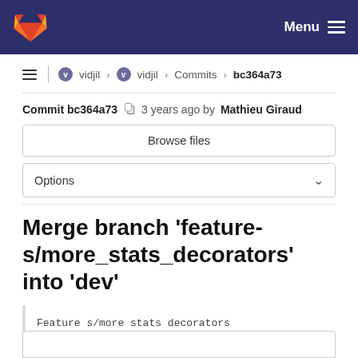Menu
vidjil > vidjil > Commits > bc364a73
Commit bc364a73  3 years ago by Mathieu Giraud
Browse files
Options
Merge branch 'feature-s/more_stats_decorators' into 'dev'
Feature s/more stats decorators

See merge request !306